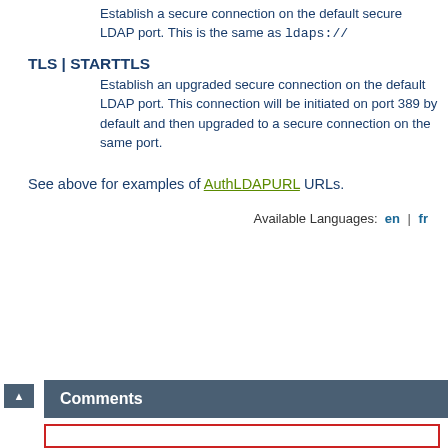Establish a secure connection on the default secure LDAP port. This is the same as ldaps://
TLS | STARTTLS — Establish an upgraded secure connection on the default LDAP port. This connection will be initiated on port 389 by default and then upgraded to a secure connection on the same port.
See above for examples of AuthLDAPURL URLs.
Available Languages: en | fr
Comments